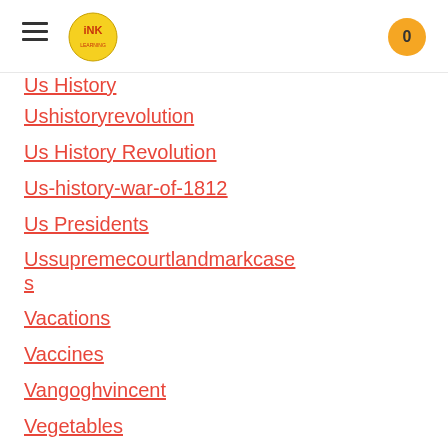INK logo, hamburger menu, cart (0)
Us History (partial, top cropped)
Ushistoryrevolution
Us History Revolution
Us-history-war-of-1812
Us Presidents
Ussupremecourtlandmarkcases
Vacations
Vaccines
Vangoghvincent
Vegetables
Venom
Vietnam
Viruses
Visual-literacy